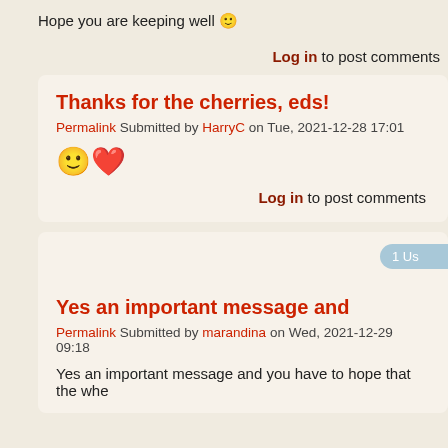Hope you are keeping well 🙂
Log in to post comments
Thanks for the cherries, eds!
Permalink Submitted by HarryC on Tue, 2021-12-28 17:01
🙂❤
Log in to post comments
1 Us
Yes an important message and
Permalink Submitted by marandina on Wed, 2021-12-29 09:18
Yes an important message and you have to hope that the whe